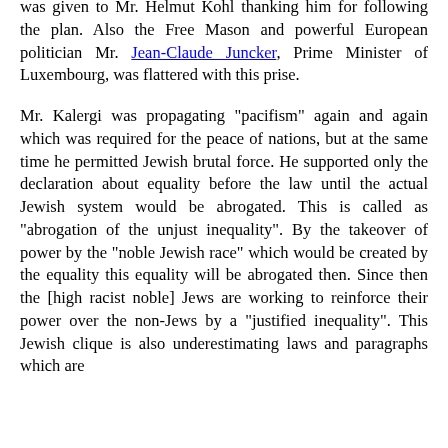was given to Mr. Helmut Kohl thanking him for following the plan. Also the Free Mason and powerful European politician Mr. Jean-Claude Juncker, Prime Minister of Luxembourg, was flattered with this prise.
Mr. Kalergi was propagating "pacifism" again and again which was required for the peace of nations, but at the same time he permitted Jewish brutal force. He supported only the declaration about equality before the law until the actual Jewish system would be abrogated. This is called as "abrogation of the unjust inequality". By the takeover of power by the "noble Jewish race" which would be created by the equality this equality will be abrogated then. Since then the [high racist noble] Jews are working to reinforce their power over the non-Jews by a "justified inequality". This Jewish clique is also underestimating laws and paragraphs which are